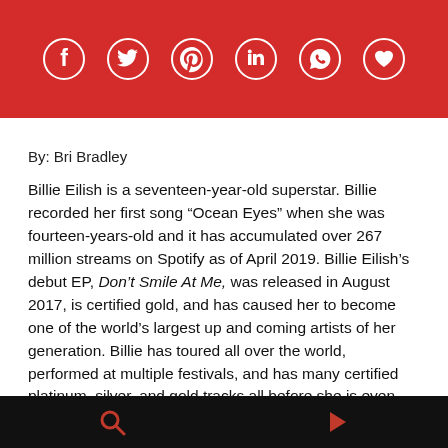[Figure (other): Red banner with six white circular social media icons: Facebook, Twitter, Pinterest, LinkedIn, WhatsApp, and a heart/favorite icon]
By: Bri Bradley
Billie Eilish is a seventeen-year-old superstar. Billie recorded her first song “Ocean Eyes” when she was fourteen-years-old and it has accumulated over 267 million streams on Spotify as of April 2019. Billie Eilish’s debut EP, Don’t Smile At Me, was released in August 2017, is certified gold, and has caused her to become one of the world’s largest up and coming artists of her generation. Billie has toured all over the world, performed at multiple festivals, and has many certified platinum, silver, and gold tracks all before she is even
Search and play navigation bar